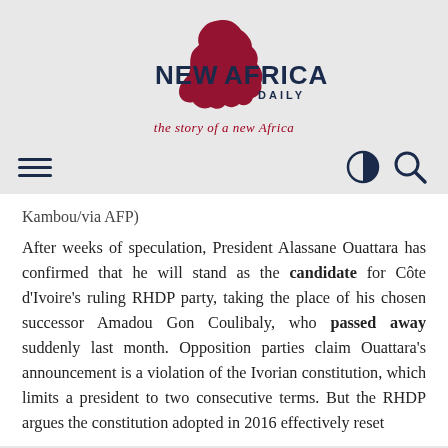[Figure (logo): New Africa Daily logo with dark red Africa map silhouette and bold text 'NEW AFRICA DAILY']
the story of a new Africa
Navigation bar with hamburger menu, contrast toggle, and search icon
Kambou/via AFP)
After weeks of speculation, President Alassane Ouattara has confirmed that he will stand as the candidate for Côte d'Ivoire's ruling RHDP party, taking the place of his chosen successor Amadou Gon Coulibaly, who passed away suddenly last month. Opposition parties claim Ouattara's announcement is a violation of the Ivorian constitution, which limits a president to two consecutive terms. But the RHDP argues the constitution adopted in 2016 effectively reset